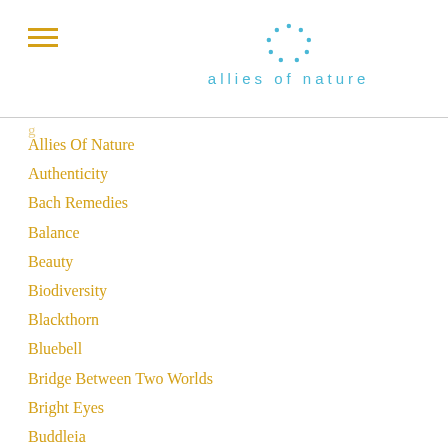allies of nature
Allies Of Nature
Authenticity
Bach Remedies
Balance
Beauty
Biodiversity
Blackthorn
Bluebell
Bridge Between Two Worlds
Bright Eyes
Buddleia
Bullying
Capitalism
Caterpillar / Butterfly
Chalice Well
Climate Change
Clover